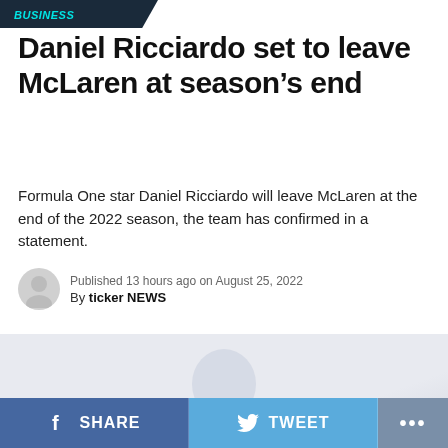BUSINESS
Daniel Ricciardo set to leave McLaren at season's end
Formula One star Daniel Ricciardo will leave McLaren at the end of the 2022 season, the team has confirmed in a statement.
Published 13 hours ago on August 25, 2022
By ticker NEWS
[Figure (photo): Faded photo of Daniel Ricciardo smiling, light grey-blue toned background]
SHARE  TWEET  ...